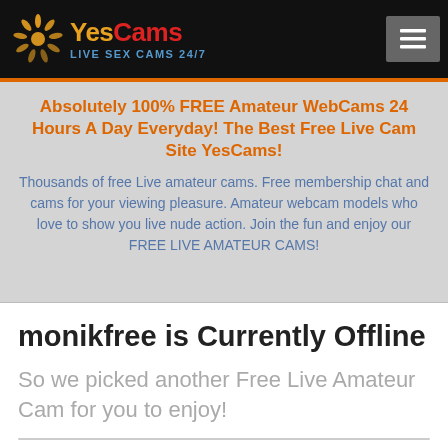YesCams LIVE SEX CAMS 24/7
Absolutely 100% FREE Amateur WebCams 24 Hours A Day Everyday! The Best Free Live Cam Site YesCams!
Thousands of free Live amateur cams. Free membership chat and cams for your viewing pleasure. Amateur webcam models who love to show you live nude action. Join the fun and enjoy our FREE LIVE AMATEUR CAMS!
monikfree is Currently Offline
So we picked another Free Live Amateur Cam for you to enjoy!